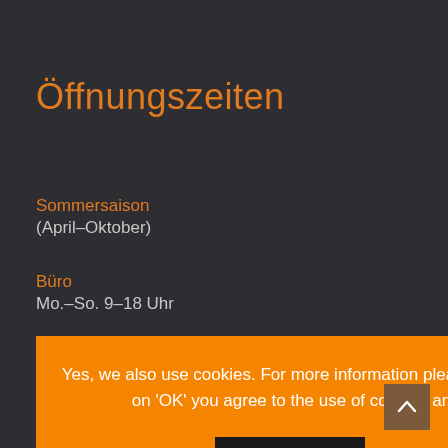Öffnungszeiten
Sommersaison
(April–Oktober)
Büro
Mo.–So. 9–18 Uhr
Yes, we also use cookies. For more information please read our privacy policy. By clicking on 'OK' you agree to the use of cookies and you can surf straight away.
OK   NOPE   Data policy